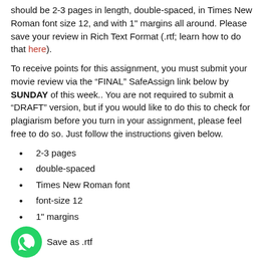should be 2-3 pages in length, double-spaced, in Times New Roman font size 12, and with 1" margins all around. Please save your review in Rich Text Format (.rtf; learn how to do that here).
To receive points for this assignment, you must submit your movie review via the “FINAL” SafeAssign link below by SUNDAY of this week.. You are not required to submit a “DRAFT” version, but if you would like to do this to check for plagiarism before you turn in your assignment, please feel free to do so. Just follow the instructions given below.
2-3 pages
double-spaced
Times New Roman font
font-size 12
1" margins
Save as .rtf